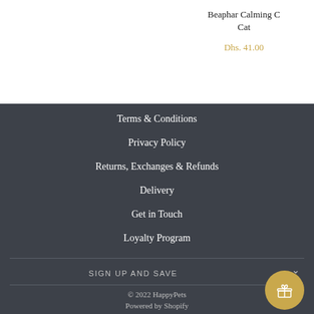Beaphar Calming C Cat
Dhs. 41.00
Terms & Conditions
Privacy Policy
Returns, Exchanges & Refunds
Delivery
Get in Touch
Loyalty Program
SIGN UP AND SAVE
© 2022 HappyPets
Powered by Shopify